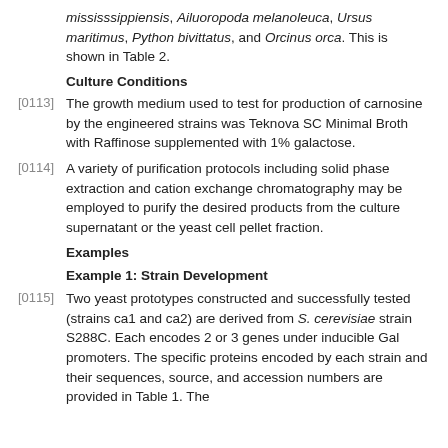mississsippiensis, Ailuoropoda melanoleuca, Ursus maritimus, Python bivittatus, and Orcinus orca. This is shown in Table 2.
Culture Conditions
[0113] The growth medium used to test for production of carnosine by the engineered strains was Teknova SC Minimal Broth with Raffinose supplemented with 1% galactose.
[0114] A variety of purification protocols including solid phase extraction and cation exchange chromatography may be employed to purify the desired products from the culture supernatant or the yeast cell pellet fraction.
Examples
Example 1: Strain Development
[0115] Two yeast prototypes constructed and successfully tested (strains ca1 and ca2) are derived from S. cerevisiae strain S288C. Each encodes 2 or 3 genes under inducible Gal promoters. The specific proteins encoded by each strain and their sequences, source, and accession numbers are provided in Table 1. The